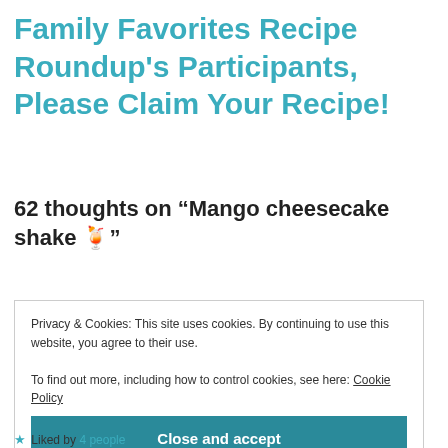Family Favorites Recipe Roundup's Participants, Please Claim Your Recipe!
62 thoughts on “Mango cheesecake shake 🍹”
Privacy & Cookies: This site uses cookies. By continuing to use this website, you agree to their use.
To find out more, including how to control cookies, see here: Cookie Policy
Close and accept
Liked by 4 people